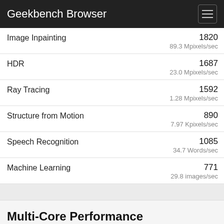Geekbench Browser
Image Inpainting — 1820 — 89.3 Mpixels/sec
HDR — 1687 — 23.0 Mpixels/sec
Ray Tracing — 1592 — 1.28 Mpixels/sec
Structure from Motion — 890 — 7.97 Kpixels/sec
Speech Recognition — 1085 — 34.7 Words/sec
Machine Learning — 771 — 29.8 images/sec
Multi-Core Performance
Multi-Core Score — 4565